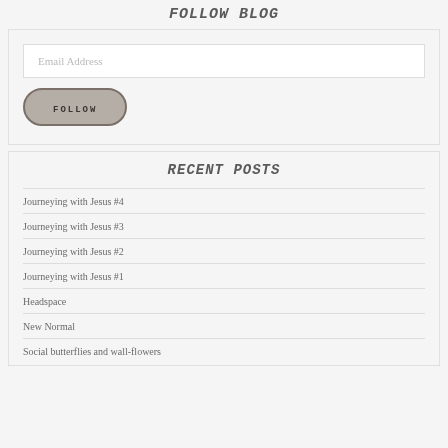FOLLOW BLOG
[Figure (other): Email address input field with placeholder text 'Email Address']
[Figure (other): Follow button with rounded rectangle border]
RECENT POSTS
Journeying with Jesus #4
Journeying with Jesus #3
Journeying with Jesus #2
Journeying with Jesus #1
Headspace
New Normal
Social butterflies and wall-flowers